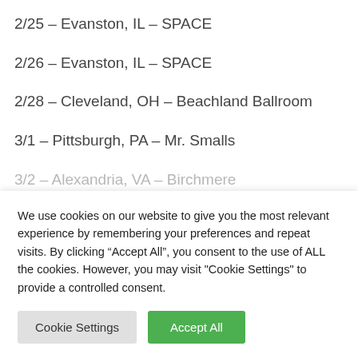2/25 – Evanston, IL – SPACE
2/26 – Evanston, IL – SPACE
2/28 – Cleveland, OH – Beachland Ballroom
3/1 – Pittsburgh, PA – Mr. Smalls
3/2 – Alexandria, VA – Birchmere
We use cookies on our website to give you the most relevant experience by remembering your preferences and repeat visits. By clicking “Accept All”, you consent to the use of ALL the cookies. However, you may visit "Cookie Settings" to provide a controlled consent.